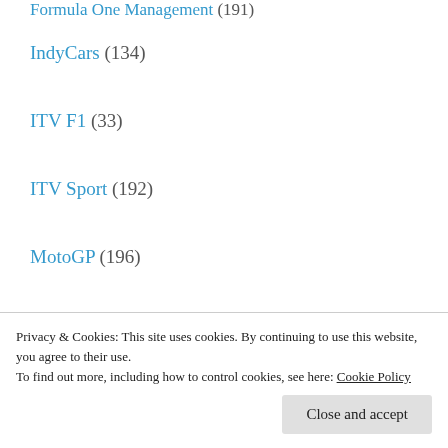Formula One Management (191)
IndyCars (134)
ITV F1 (33)
ITV Sport (192)
MotoGP (196)
Motorsport Network (69)
News round-ups (33)
Other (16)
Ratings (332)
Scheduling (337)
Privacy & Cookies: This site uses cookies. By continuing to use this website, you agree to their use. To find out more, including how to control cookies, see here: Cookie Policy
Uncategorized (29)